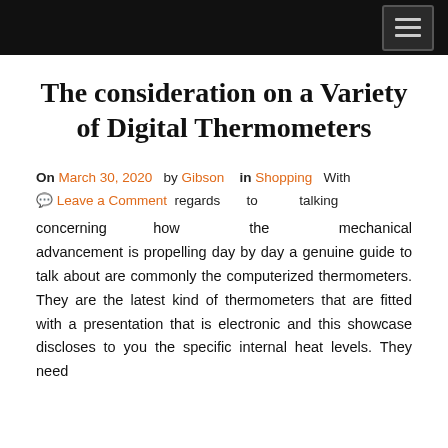The consideration on a Variety of Digital Thermometers
On March 30, 2020  by Gibson   in Shopping  With  💬 Leave a Comment  regards to talking concerning how the mechanical advancement is propelling day by day a genuine guide to talk about are commonly the computerized thermometers. They are the latest kind of thermometers that are fitted with a presentation that is electronic and this showcase discloses to you the specific internal heat levels. They need